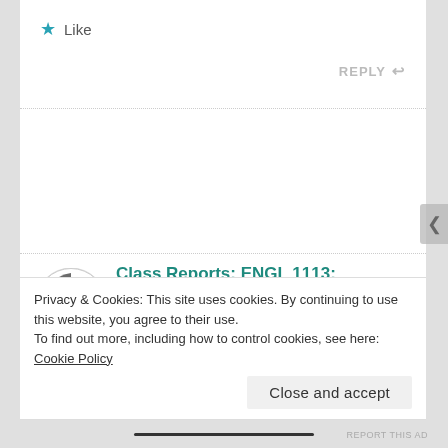★ Like
REPLY ↩
Class Reports: ENGL 1113: Composition I, Sections 025, 044, 084, and 102- 21 October 2015 | Elliott RWI says:
21 OCTOBER 2015 AT 14:19
Privacy & Cookies: This site uses cookies. By continuing to use this website, you agree to their use.
To find out more, including how to control cookies, see here: Cookie Policy
Close and accept